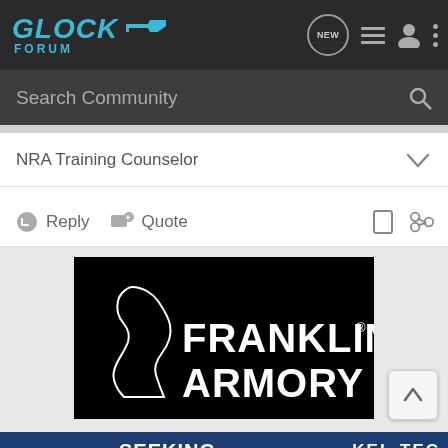[Figure (screenshot): GlockForum website navigation bar with logo, NEW bubble icon, list icon, user icon, and three-dots menu icon]
Search Community
NRA Training Counselor
Reply   Quote
[Figure (logo): Franklin Armory logo on black background with silhouette profile of Benjamin Franklin on the left and FRANKLIN ARMORY text in white]
[Figure (illustration): KEL-TEC advertisement banner with handgun image and text: SEEKING LONG RANGE RELATIONSHIP, THE CP33 PISTOL]